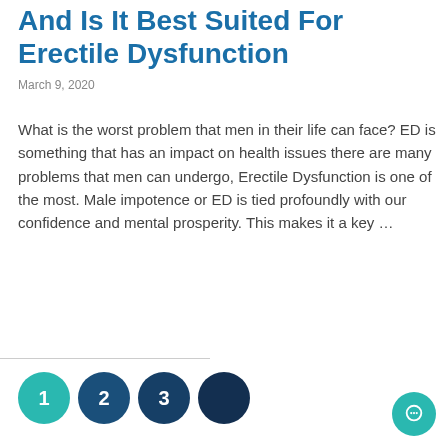And Is It Best Suited For Erectile Dysfunction
March 9, 2020
What is the worst problem that men in their life can face? ED is something that has an impact on health issues there are many problems that men can undergo, Erectile Dysfunction is one of the most. Male impotence or ED is tied profoundly with our confidence and mental prosperity. This makes it a key …